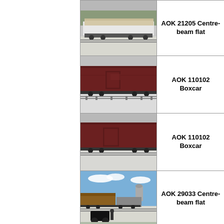[Figure (photo): Train with centre-beam flat car loaded with lumber/timber, trees in background, winter scene]
AOK 21205 Centre-beam flat
[Figure (photo): Dark red/brown boxcar on snowy tracks]
AOK 110102 Boxcar
[Figure (photo): Dark red/brown boxcar on snowy tracks, slightly different angle]
AOK 110102 Boxcar
[Figure (photo): Rail yard scene with centre-beam flat car, snowy ground, blue sky, buildings in background]
AOK 29033 Centre-beam flat
[Figure (photo): Partial view of train cars, winter trees in background]